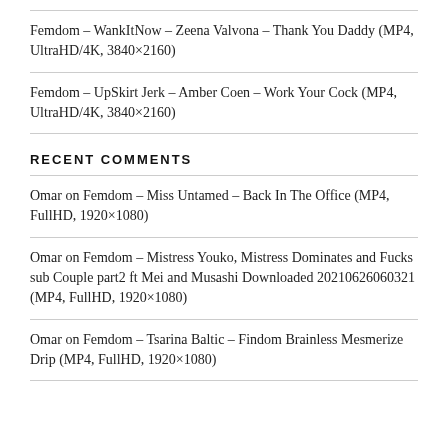Femdom – WankItNow – Zeena Valvona – Thank You Daddy (MP4, UltraHD/4K, 3840×2160)
Femdom – UpSkirt Jerk – Amber Coen – Work Your Cock (MP4, UltraHD/4K, 3840×2160)
RECENT COMMENTS
Omar on Femdom – Miss Untamed – Back In The Office (MP4, FullHD, 1920×1080)
Omar on Femdom – Mistress Youko, Mistress Dominates and Fucks sub Couple part2 ft Mei and Musashi Downloaded 20210626060321 (MP4, FullHD, 1920×1080)
Omar on Femdom – Tsarina Baltic – Findom Brainless Mesmerize Drip (MP4, FullHD, 1920×1080)